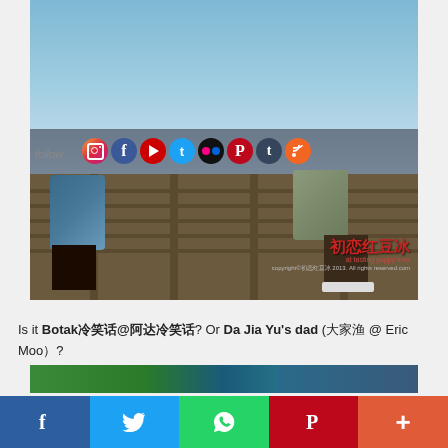[Figure (photo): Two people crouching on a wooden dock/pier near water. One person on the left wearing a floral shirt and sandals, the other on the right wearing checkered shirt with a backpack and sneakers. There is Chinese watermark text and a copyright notice in the lower right corner. Social media icons overlay the top right of the image.]
Is it Botak冷笑话@阿达冷笑话? Or Da Jia Yu's dad (大家渔 @ Eric Moo）?
[Figure (photo): Partial view of a second image strip at the bottom of the page.]